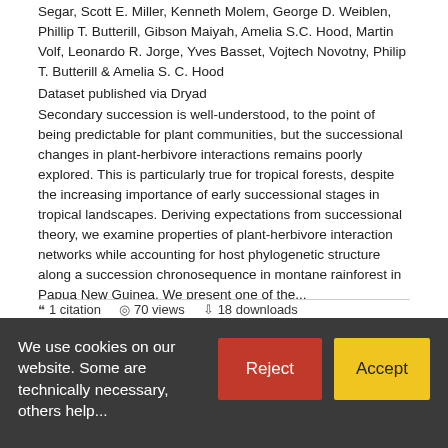Segar, Scott E. Miller, Kenneth Molem, George D. Weiblen, Phillip T. Butterill, Gibson Maiyah, Amelia S.C. Hood, Martin Volf, Leonardo R. Jorge, Yves Basset, Vojtech Novotny, Philip T. Butterill & Amelia S. C. Hood
Dataset published via Dryad
Secondary succession is well-understood, to the point of being predictable for plant communities, but the successional changes in plant-herbivore interactions remains poorly explored. This is particularly true for tropical forests, despite the increasing importance of early successional stages in tropical landscapes. Deriving expectations from successional theory, we examine properties of plant-herbivore interaction networks while accounting for host phylogenetic structure along a succession chronosequence in montane rainforest in Papua New Guinea. We present one of the...
1 citation   70 views   18 downloads
We use cookies on our website. Some are technically necessary, others help...
Reject
Accept